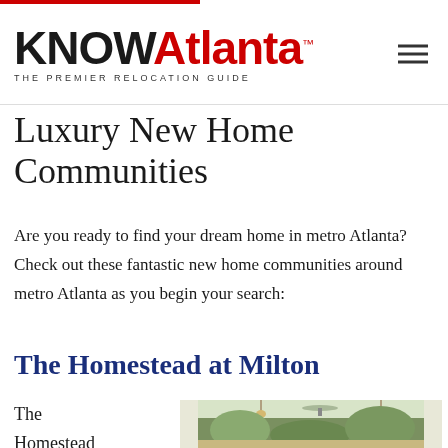KNOWAtlanta™ THE PREMIER RELOCATION GUIDE
Luxury New Home Communities
Are you ready to find your dream home in metro Atlanta? Check out these fantastic new home communities around metro Atlanta as you begin your search:
The Homestead at Milton
The Homestead
[Figure (photo): Interior porch/veranda of a home showing ceiling fan and hanging lights, with white columns and green trees visible outside]